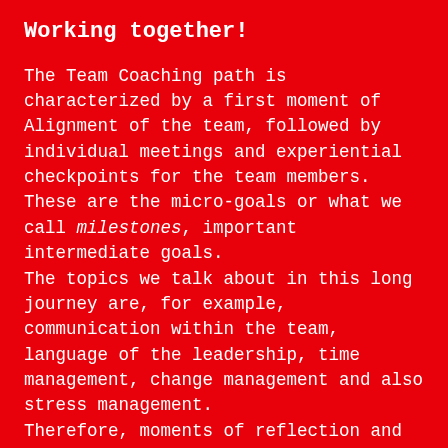Working together!
The Team Coaching path is characterized by a first moment of Alignment of the team, followed by individual meetings and experiential checkpoints for the team members. These are the micro-goals or what we call milestones, important intermediate goals.
The topics we talk about in this long journey are, for example, communication within the team, language of the leadership, time management, change management and also stress management.
Therefore, moments of reflection and comparison will alternate with moments of activity and fun.